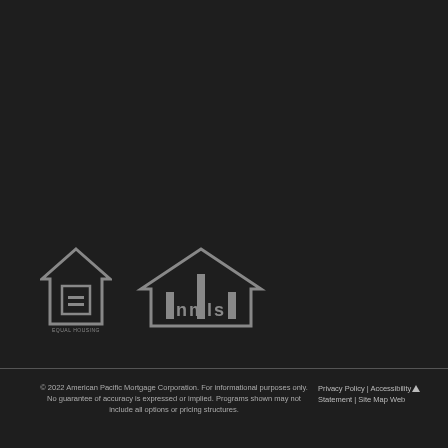[Figure (logo): Equal Housing Opportunity logo - house outline with equal sign]
[Figure (logo): NMLS logo - house outline with NMLS text]
© 2022 American Pacific Mortgage Corporation. For informational purposes only. No guarantee of accuracy is expressed or implied. Programs shown may not include all options or pricing structures.
Privacy Policy | Accessibility Statement | Site Map Web